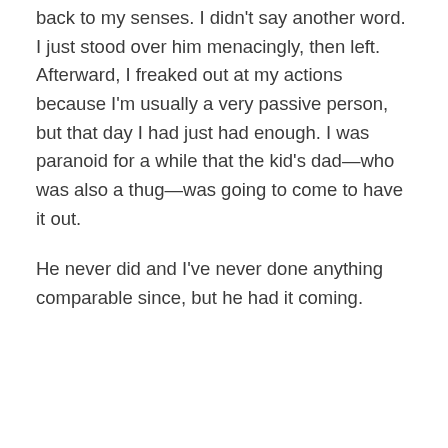back to my senses. I didn't say another word. I just stood over him menacingly, then left. Afterward, I freaked out at my actions because I'm usually a very passive person, but that day I had just had enough. I was paranoid for a while that the kid's dad—who was also a thug—was going to come to have it out.
He never did and I've never done anything comparable since, but he had it coming.